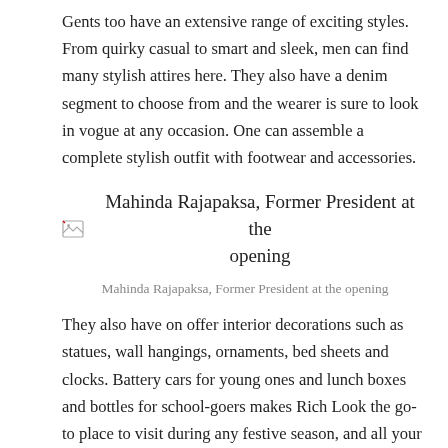Gents too have an extensive range of exciting styles. From quirky casual to smart and sleek, men can find many stylish attires here. They also have a denim segment to choose from and the wearer is sure to look in vogue at any occasion. One can assemble a complete stylish outfit with footwear and accessories.
[Figure (photo): Broken image placeholder labelled: Mahinda Rajapaksa, Former President at the opening]
Mahinda Rajapaksa, Former President at the opening
They also have on offer interior decorations such as statues, wall hangings, ornaments, bed sheets and clocks. Battery cars for young ones and lunch boxes and bottles for school-goers makes Rich Look the go-to place to visit during any festive season, and all your varied gift-giving needs will surely be fulfilled. Adding to that is the